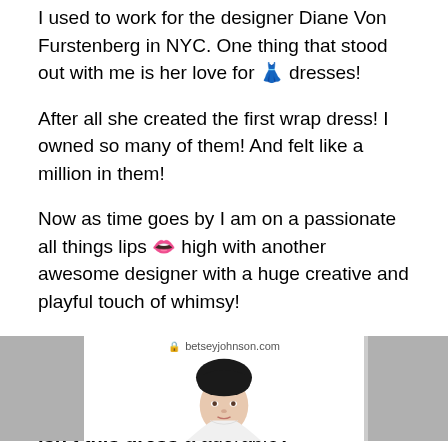I used to work for the designer Diane Von Furstenberg in NYC. One thing that stood out with me is her love for 👗 dresses!
After all she created the first wrap dress! I owned so many of them! And felt like a million in them!
Now as time goes by I am on a passionate all things lips 👄 high with another awesome designer with a huge creative and playful touch of whimsy!
Designer Betsey Johnson!
Do you love her too like I do???
Isn't this dress a adorable?
[Figure (photo): A woman modeling a dress from betseyjohnson.com, shown from shoulders up against a white background, with gray panels on either side.]